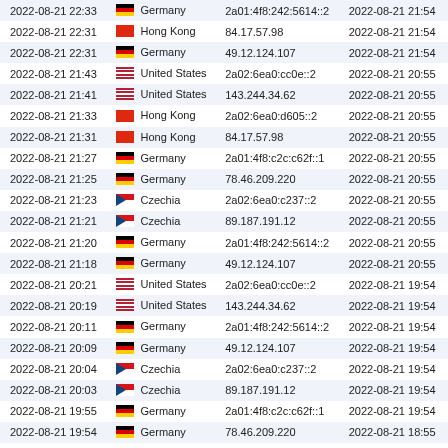| Date | Country | IP Address | Date2 |
| --- | --- | --- | --- |
| 2022-08-21 22:33 | Germany | 2a01:4f8:242:5614::2 | 2022-08-21 21:54 |
| 2022-08-21 22:31 | Hong Kong | 84.17.57.98 | 2022-08-21 21:54 |
| 2022-08-21 22:31 | Germany | 49.12.124.107 | 2022-08-21 21:54 |
| 2022-08-21 21:43 | United States | 2a02:6ea0:cc0e::2 | 2022-08-21 20:55 |
| 2022-08-21 21:41 | United States | 143.244.34.62 | 2022-08-21 20:55 |
| 2022-08-21 21:33 | Hong Kong | 2a02:6ea0:d605::2 | 2022-08-21 20:55 |
| 2022-08-21 21:31 | Hong Kong | 84.17.57.98 | 2022-08-21 20:55 |
| 2022-08-21 21:27 | Germany | 2a01:4f8:c2c:c62f::1 | 2022-08-21 20:55 |
| 2022-08-21 21:25 | Germany | 78.46.209.220 | 2022-08-21 20:55 |
| 2022-08-21 21:23 | Czechia | 2a02:6ea0:c237::2 | 2022-08-21 20:55 |
| 2022-08-21 21:21 | Czechia | 89.187.191.12 | 2022-08-21 20:55 |
| 2022-08-21 21:20 | Germany | 2a01:4f8:242:5614::2 | 2022-08-21 20:55 |
| 2022-08-21 21:18 | Germany | 49.12.124.107 | 2022-08-21 20:55 |
| 2022-08-21 20:21 | United States | 2a02:6ea0:cc0e::2 | 2022-08-21 19:54 |
| 2022-08-21 20:19 | United States | 143.244.34.62 | 2022-08-21 19:54 |
| 2022-08-21 20:11 | Germany | 2a01:4f8:242:5614::2 | 2022-08-21 19:54 |
| 2022-08-21 20:09 | Germany | 49.12.124.107 | 2022-08-21 19:54 |
| 2022-08-21 20:04 | Czechia | 2a02:6ea0:c237::2 | 2022-08-21 19:54 |
| 2022-08-21 20:03 | Czechia | 89.187.191.12 | 2022-08-21 19:54 |
| 2022-08-21 19:55 | Germany | 2a01:4f8:c2c:c62f::1 | 2022-08-21 19:54 |
| 2022-08-21 19:54 | Germany | 78.46.209.220 | 2022-08-21 18:55 |